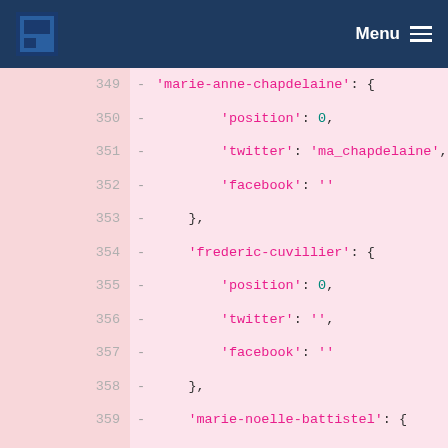Menu
[Figure (screenshot): Code diff view showing lines 349-368 of a Python/JSON-like configuration file with politician social media data entries for marie-anne-chapdelaine, frederic-cuvillier, marie-noelle-battistel, and pascal-demarthe, each with position, twitter, and facebook fields.]